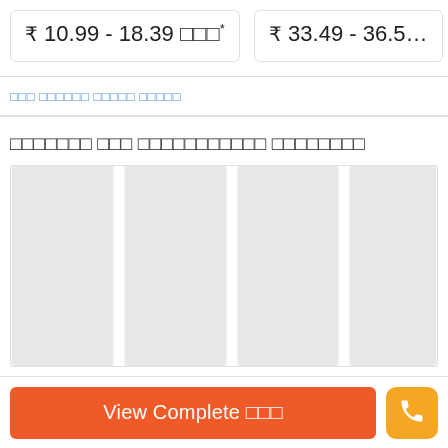₹ 10.99 - 18.39 □□□*
₹ 33.49 - 36.5…
□□□ □□□□□□ □□□□□ □□□□□
□□□□□□□ □□□ □□□□□□□□□□□ □□□□□□□□
[Figure (other): Grid of grey placeholder columns representing product images or comparison cards]
View Complete □□□